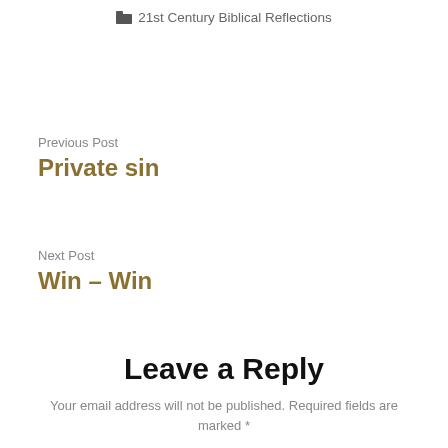📁 21st Century Biblical Reflections
Previous Post
Private sin
Next Post
Win – Win
Leave a Reply
Your email address will not be published. Required fields are marked *